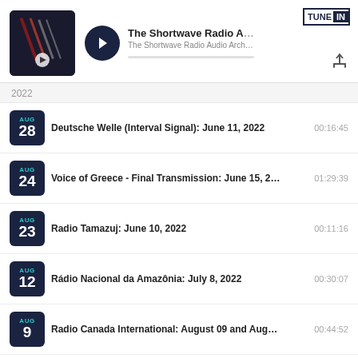[Figure (screenshot): TuneIn podcast player header showing The Shortwave Radio Audio Archive podcast with thumbnail, play button, title, description, progress bar, TuneIn logo, and share icon]
2022
AUG 28 · Deutsche Welle (Interval Signal): June 11, 2022 · 00:16:45
AUG 24 · Voice of Greece - Final Transmission: June 15, 2... · 01:29:39
AUG 23 · Radio Tamazuj: June 10, 2022 · 00:11:16
AUG 12 · Rádio Nacional da Amazônia: July 8, 2022 · 00:30:07
AUG 9 · Radio Canada International: August 09 and Aug... · 00:44:52
RECENT POSTS